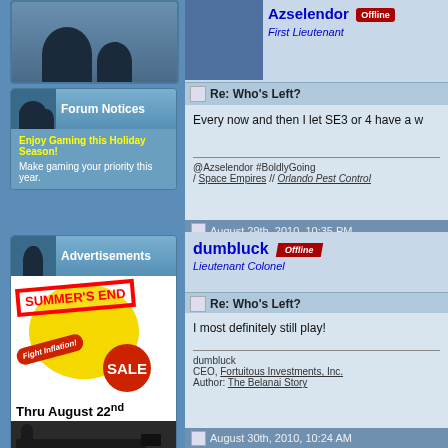[Figure (screenshot): Forum sidebar showing silhouette avatar placeholder at top]
Forum Notices
Enjoy Gaming this Holiday Season!
Make gaming your priority this year.
Advertisements
[Figure (illustration): Summer's End Sale advertisement with yellow circle, red stamp text SUMMER'S END, Fight Inflation sticker, SALE badge, Thru August 22nd text, and sniper silhouette]
Azselendor  [Offline]
First Lieutenant
Re: Who's Left?
Every now and then I let SE3 or 4 have a w
@Azselendor #BoldlyGoing
/ Space Empires // Orlando Pest Control
August 29th, 2010, 10:35 PM
dumbluck  [Offline]
Lieutenant Colonel
Re: Who's Left?
I most definitely still play!
dumbluck
CEO, Fortuitous Investments, Inc.
Author: The Belanai Story
August 30th, 2010, 10:24 AM